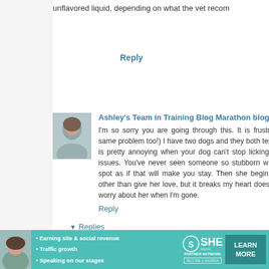unflavored liquid, depending on what the vet recom
Reply
Ashley's Team in Training Blog Marathon blog and mor
I'm so sorry you are going through this. It is frustrating whe same problem too!) I have two dogs and they both tend to but it is pretty annoying when your dog can't stop licking h anxiety issues. You've never seen someone so stubborn w holds her spot as if that will make you stay. Then she begin right now other than give her love, but it breaks my heart does make me worry about her when I'm gone.
Reply
▾ Replies
Jen    May 8, 2014 at 11:38 AM
Awwwww, poor little guy! You might try a Thunder pet anxiety. Lily seems to like hers (it's the gray on dog sizes, too, and cost about $30, so it's a fairly c
[Figure (photo): Advertisement banner for SHE Partner Network with woman photo, bullet points about earning site and social revenue, traffic growth, speaking on stages, and a Learn More button]